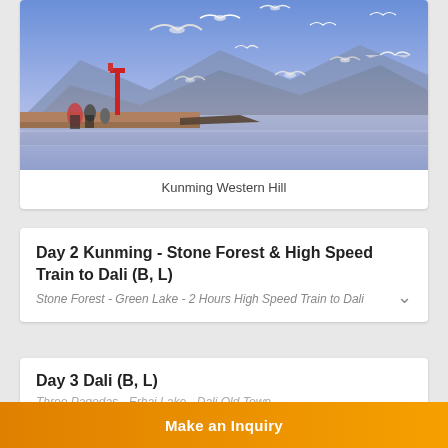[Figure (photo): Photo of Kunming Western Hill showing seagulls flying over a lake with mountains in the background, and people standing on a waterfront promenade with a red lamppost]
Kunming Western Hill
Day 2 Kunming - Stone Forest & High Speed Train to Dali (B, L)
Stone Forest - Green Lake - 2 Hours High Speed Train to Dali
Day 3 Dali (B, L)
Three Pagodas - Erhai Lake - Dali Old Town
Make an Inquiry